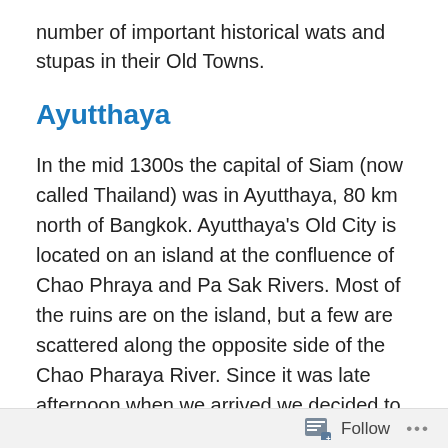number of important historical wats and stupas in their Old Towns.
Ayutthaya
In the mid 1300s the capital of Siam (now called Thailand) was in Ayutthaya, 80 km north of Bangkok. Ayutthaya's Old City is located on an island at the confluence of Chao Phraya and Pa Sak Rivers. Most of the ruins are on the island, but a few are scattered along the opposite side of the Chao Pharaya River. Since it was late afternoon when we arrived we decided to take an evening long-boat cruise to see the ruins along the river. They are not a part of the Ayutthaya Historical Park but are a great introduction to what Ayutthaya has to offer. We saw the pointy tops of
Follow ...